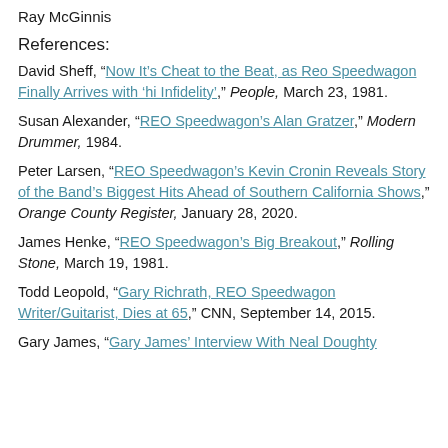Ray McGinnis
References:
David Sheff, “Now It’s Cheat to the Beat, as Reo Speedwagon Finally Arrives with ‘hi Infidelity’,” People, March 23, 1981.
Susan Alexander, “REO Speedwagon’s Alan Gratzer,” Modern Drummer, 1984.
Peter Larsen, “REO Speedwagon’s Kevin Cronin Reveals Story of the Band’s Biggest Hits Ahead of Southern California Shows,” Orange County Register, January 28, 2020.
James Henke, “REO Speedwagon’s Big Breakout,” Rolling Stone, March 19, 1981.
Todd Leopold, “Gary Richrath, REO Speedwagon Writer/Guitarist, Dies at 65,” CNN, September 14, 2015.
Gary James, “Gary James’ Interview With Neal Doughty